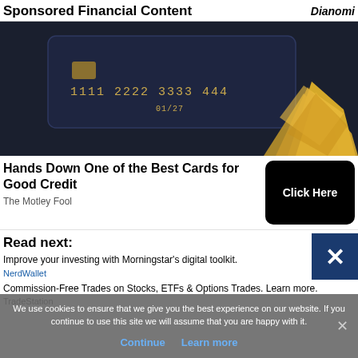Sponsored Financial Content | Dianomi
[Figure (photo): Dark background showing a credit card with gold numbers (1111 2222 3333 4444, 01/27) and a crumpled gold metallic shape in the foreground]
Hands Down One of the Best Cards for Good Credit
The Motley Fool
Read next:
Improve your investing with Morningstar's digital toolkit.
NerdWallet
Commission-Free Trades on Stocks, ETFs & Options Trades. Learn more.
We use cookies to ensure that we give you the best experience on our website. If you continue to use this site we will assume that you are happy with it.